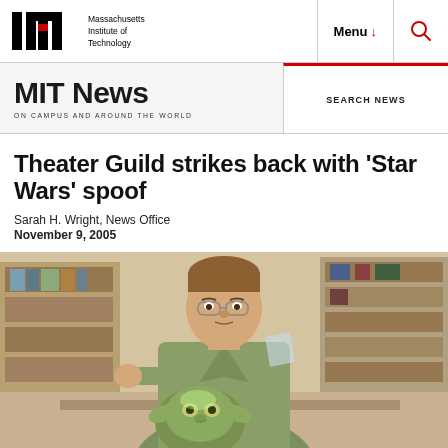Massachusetts Institute of Technology | Menu | Search
MIT News ON CAMPUS AND AROUND THE WORLD
Theater Guild strikes back with 'Star Wars' spoof
Sarah H. Wright, News Office
November 9, 2005
[Figure (photo): A person in a green robe holding a Yoda puppet/mask, appearing to be in a rehearsal or backstage setting with shelving in the background.]